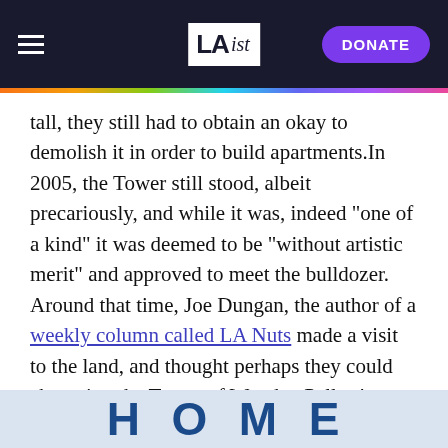LAist
tall, they still had to obtain an okay to demolish it in order to build apartments.In 2005, the Tower still stood, albeit precariously, and while it was, indeed "one of a kind" it was deemed to be "without artistic merit" and approved to meet the bulldozer. Around that time, Joe Dungan, the author of a weekly column called LA Nuts made a visit to the land, and thought perhaps they could champion the Tower of Wooden Pallets' cause:
Support for LAist comes from